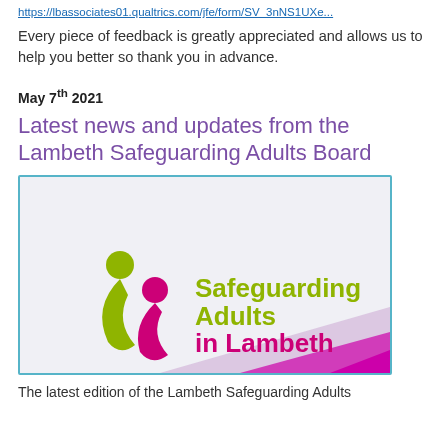https://lbassociates01.qualtrics.com/jfe/form/SV_3nNS1UXe...
Every piece of feedback is greatly appreciated and allows us to help you better so thank you in advance.
May 7th 2021
Latest news and updates from the Lambeth Safeguarding Adults Board
[Figure (logo): Lambeth Safeguarding Adults Board logo showing two abstract figures in olive green and magenta, with text 'Safeguarding Adults in Lambeth' in olive/magenta, on a light background with diagonal purple/pink stripe at the bottom.]
The latest edition of the Lambeth Safeguarding Adults